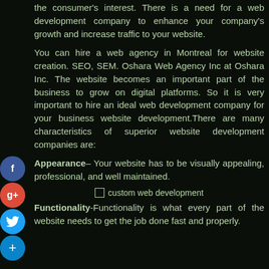the consumer's interest. There is a need for a web development company to enhance your company's growth and increase traffic to your website.
You can hire a web agency in Montreal for website creation. SEO, SEM. Oshara Web Agency Inc at Oshara Inc. The website becomes an important part of the business to grow on digital platforms. So it is very important to hire an ideal web development company for your business website development.There are many characteristics of superior website development companies are:
Appearance– Your website has to be visually appealing, professional, and well maintained.
[Figure (photo): custom web development image placeholder]
Functionality-Functionality is what every part of the website needs to get the job done fast and properly.